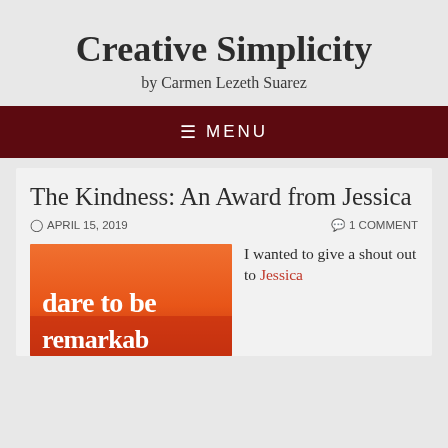Creative Simplicity
by Carmen Lezeth Suarez
≡  MENU
The Kindness: An Award from Jessica
⊙ APRIL 15, 2019       💬 1 COMMENT
[Figure (photo): Orange and red gradient background image with bold white text reading 'dare to be' and partially visible text below]
I wanted to give a shout out to Jessica